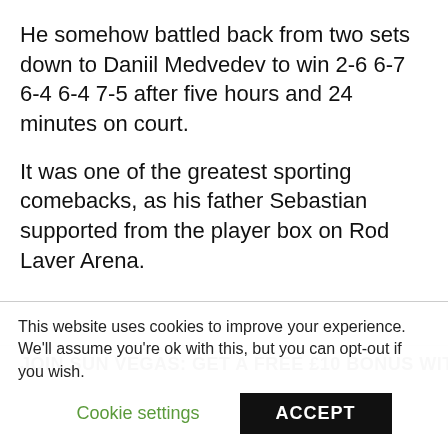He somehow battled back from two sets down to Daniil Medvedev to win 2-6 6-7 6-4 6-4 7-5 after five hours and 24 minutes on court.
It was one of the greatest sporting comebacks, as his father Sebastian supported from the player box on Rod Laver Arena.
JOIN SUN VEGAS: GET A FREE £10 BONUS WITH 100s
This website uses cookies to improve your experience. We'll assume you're ok with this, but you can opt-out if you wish.
Cookie settings
ACCEPT